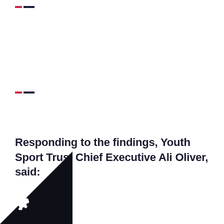Responding to the findings, Youth Sport Trust Chief Executive Ali Oliver, said: